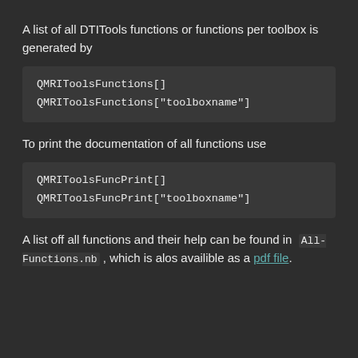A list of all DTITools functions or functions per toolbox is generated by
QMRIToolsFunctions[]
QMRIToolsFunctions["toolboxname"]
To print the documentation of all functions use
QMRIToolsFuncPrint[]
QMRIToolsFuncPrint["toolboxname"]
A list off all functions and their help can be found in  All-Functions.nb , which is alos availible as a pdf file.